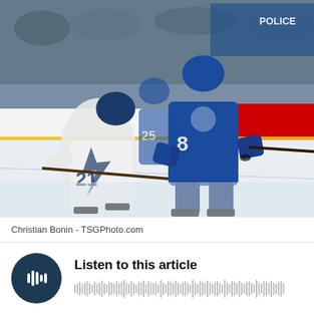[Figure (photo): NHL hockey game photo showing a Tampa Bay Lightning player (white jersey, number 21) and a Toronto Maple Leafs player (blue jersey, number 8) competing on the ice, with arena crowd and boards visible in the background. Red 'RI' branding on the boards.]
Christian Bonin - TSGPhoto.com
[Figure (infographic): Audio player widget with a dark circular play button icon (showing audio waveform bars icon) on the left, bold text 'Listen to this article' on the upper right, and an audio waveform bar visualization below the text.]